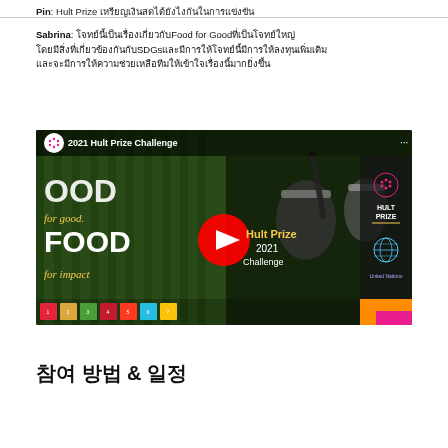Pin: Hult Prize [Thai text]
Sabrina: [Thai text] Food for Good [Thai text] SDGs [Thai text]
[Figure (screenshot): YouTube thumbnail/embed for '2021 Hult Prize Challenge' showing 'Food for Good' / 'FOOD for impact' text overlay on a green-striped background with jars, a red YouTube play button, Hult Prize 2021 Challenge branding, SDG icons at the bottom, and an orange-pink block bottom right.]
참여 방법 & 일정